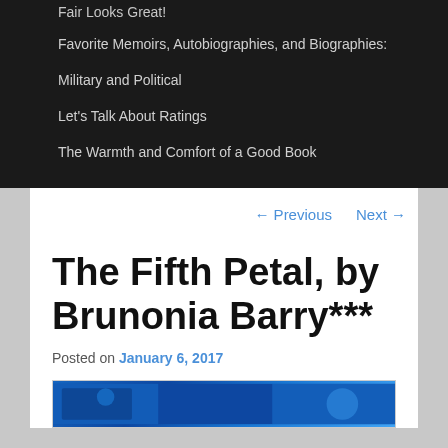Fair Looks Great!
Favorite Memoirs, Autobiographies, and Biographies:
Military and Political
Let's Talk About Ratings
The Warmth and Comfort of a Good Book
← Previous   Next →
The Fifth Petal, by Brunonia Barry***
Posted on January 6, 2017
[Figure (photo): Book cover image with blue background]